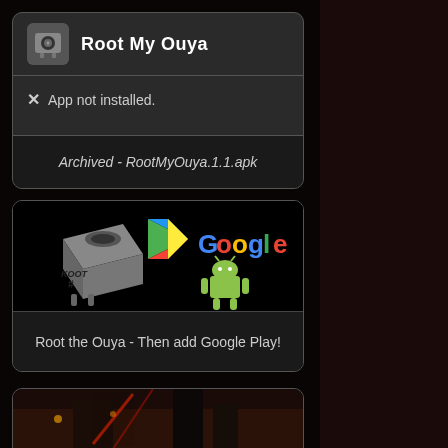[Figure (screenshot): Card showing Root My Ouya app with a small robot icon, title 'Root My Ouya', X mark with 'App not installed.' message, and footer 'Archived - RootMyOuya.1.1.apk']
[Figure (screenshot): Card showing 'Root the Ouya - Then add Google Play!' with an image of a cube-shaped device labeled 'KOOT #' alongside Google Play logo and Android robot logo]
[Figure (screenshot): Partial card at bottom showing a dark city scene with red lighting, partially cut off]